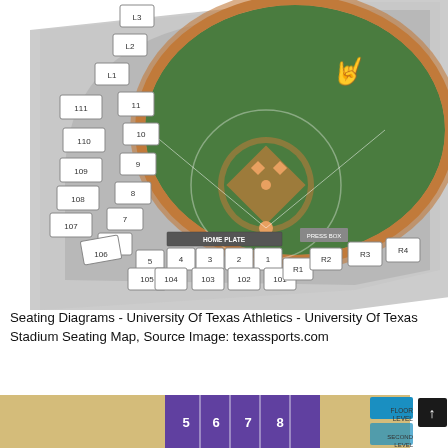[Figure (map): Seating diagram of a University of Texas baseball stadium. The map shows a bird's-eye view of the field (green with orange warning track), the infield diamond, pitcher's mound, and surrounding seating sections numbered 1-11, 101-111, R1-R4, L1-L3, with Home Plate area labeled at the bottom center. Sections curve around the left-field and first-base lines. The Texas Longhorns logo appears on the outfield grass.]
Seating Diagrams - University Of Texas Athletics - University Of Texas Stadium Seating Map, Source Image: texassports.com
[Figure (map): Bottom strip showing a partial seating chart with sections 5, 6, 7, 8 on a purple field-level area, tan/beige areas on sides, and a legend showing Floor Level and Second Level icons. A dark scroll arrow button appears at right.]